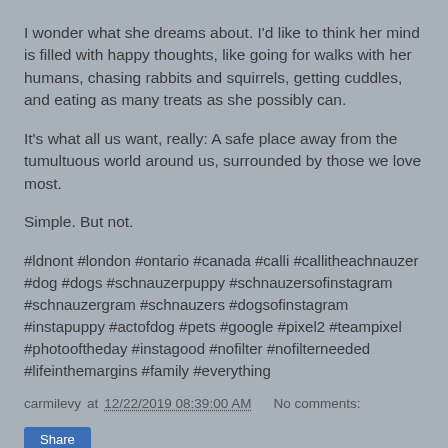I wonder what she dreams about. I'd like to think her mind is filled with happy thoughts, like going for walks with her humans, chasing rabbits and squirrels, getting cuddles, and eating as many treats as she possibly can.
It's what all us want, really: A safe place away from the tumultuous world around us, surrounded by those we love most.
Simple. But not.
#ldnont #london #ontario #canada #calli #callitheachnauzer #dog #dogs #schnauzerpuppy #schnauzersofinstagram #schnauzergram #schnauzers #dogsofinstagram #instapuppy #actofdog #pets #google #pixel2 #teampixel #photooftheday #instagood #nofilter #nofilterneeded #lifeinthemargins #family #everything
carmilevy at 12/22/2019 08:39:00 AM   No comments: